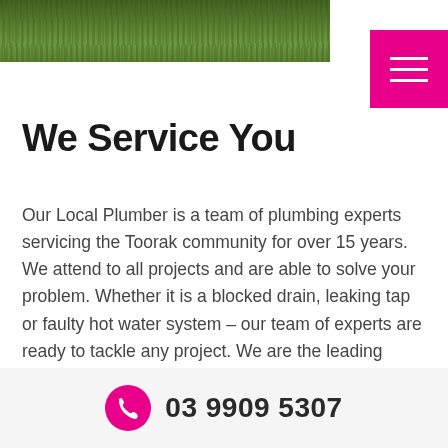[Figure (photo): Partial photo of grass/lawn at the top of the page, showing feet/shoes standing on green grass]
[Figure (other): Pink/magenta hamburger menu button with three white horizontal lines]
We Service You
Our Local Plumber is a team of plumbing experts servicing the Toorak community for over 15 years. We attend to all projects and are able to solve your problem. Whether it is a blocked drain, leaking tap or faulty hot water system – our team of experts are ready to tackle any project. We are the leading Toorak plumbers. We specialise in specific aspects of plumbing that are valuable to the residences and businesses in Toorak. Our team has a range of services that we provide in Toorak.
03 9909 5307